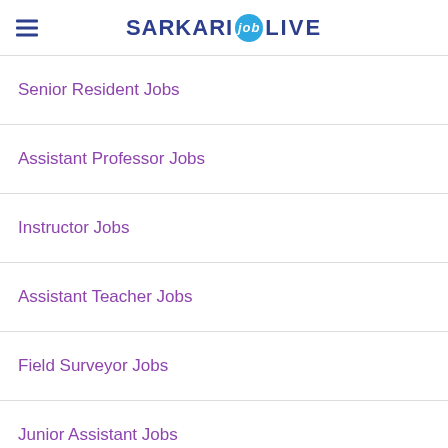SARKARI job LIVE
Senior Resident Jobs
Assistant Professor Jobs
Instructor Jobs
Assistant Teacher Jobs
Field Surveyor Jobs
Junior Assistant Jobs
Clerk Jobs